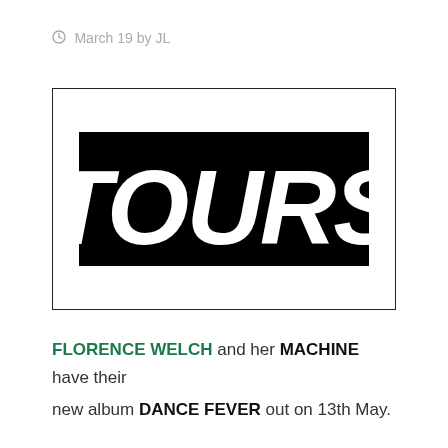March 19 by JL
[Figure (logo): Black rectangle banner with large bold white italic text reading TOURS]
FLORENCE WELCH and her MACHINE have their new album DANCE FEVER out on 13th May.